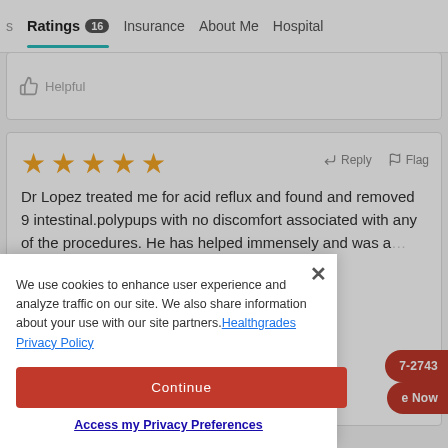s  Ratings 16  Insurance  About Me  Hospitals
Helpful
Dr Lopez treated me for acid reflux and found and removed 9 intestinal.polypups with no discomfort associated with any of the procedures. He has helped immensely and was a ... afternoon ... ely
We use cookies to enhance user experience and analyze traffic on our site. We also share information about your use with our site partners. Healthgrades Privacy Policy
Continue
Access my Privacy Preferences